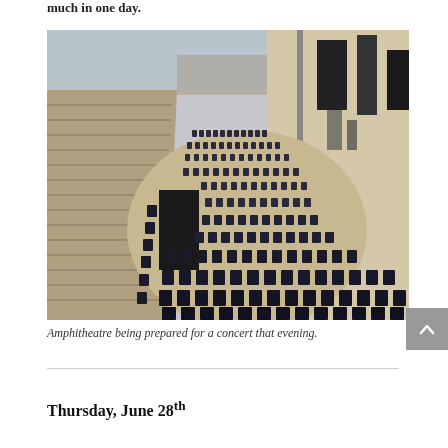much in one day.
[Figure (photo): Aerial view of an ancient amphitheatre being set up with rows of chairs for a concert, with stone seating tiers, a stage area with equipment, and speaker stacks visible.]
Amphitheatre being prepared for a concert that evening.
Thursday, June 28th